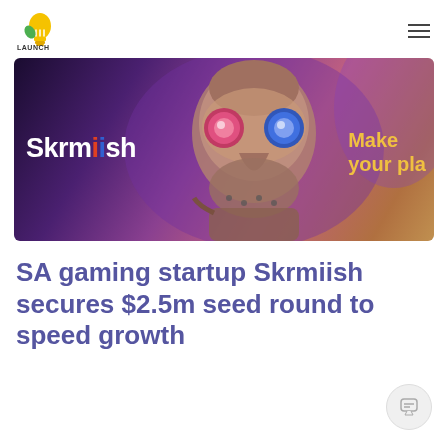Launch Africa
[Figure (photo): Skrmiish gaming brand image featuring a robotic masked figure with pink and blue glowing eyes, purple/gold tones, with the Skrmiish logo on the left and 'Make your play' text on the right]
SA gaming startup Skrmiish secures $2.5m seed round to speed growth